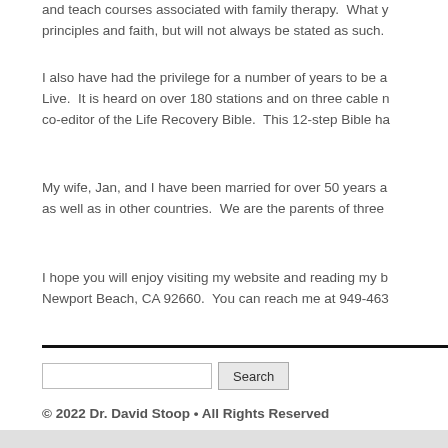and teach courses associated with family therapy. What y principles and faith, but will not always be stated as such.
I also have had the privilege for a number of years to be a Live. It is heard on over 180 stations and on three cable n co-editor of the Life Recovery Bible. This 12-step Bible ha
My wife, Jan, and I have been married for over 50 years a as well as in other countries. We are the parents of three
I hope you will enjoy visiting my website and reading my b Newport Beach, CA 92660. You can reach me at 949-463
© 2022 Dr. David Stoop • All Rights Reserved